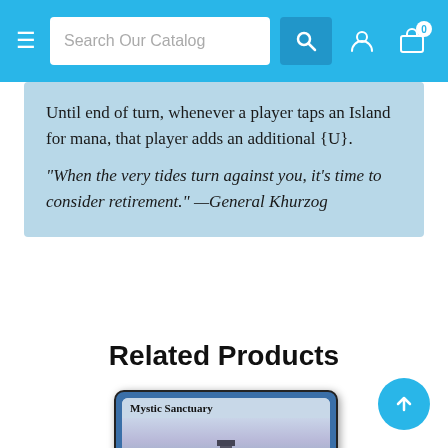Search Our Catalog
Until end of turn, whenever a player taps an Island for mana, that player adds an additional {U}.
"When the very tides turn against you, it's time to consider retirement." —General Khurzog
Related Products
[Figure (illustration): Magic: The Gathering card named Mystic Sanctuary showing a tower in a misty blue-purple landscape]